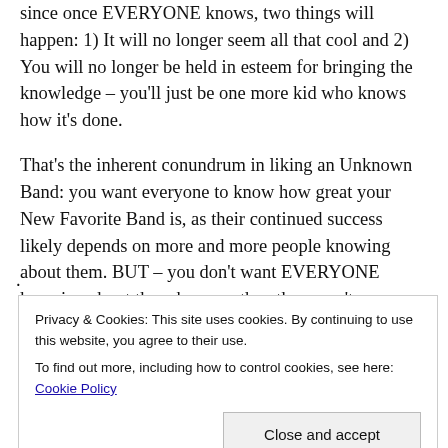since once EVERYONE knows, two things will happen: 1) It will no longer seem all that cool and 2) You will no longer be held in esteem for bringing the knowledge – you'll just be one more kid who knows how it's done.
That's the inherent conundrum in liking an Unknown Band: you want everyone to know how great your New Favorite Band is, as their continued success likely depends on more and more people knowing about them. BUT – you don't want EVERYONE knowing about them because then they won't seem as cool. And neither will you, as you won't be one of a
Privacy & Cookies: This site uses cookies. By continuing to use this website, you agree to their use.
To find out more, including how to control cookies, see here: Cookie Policy
Close and accept